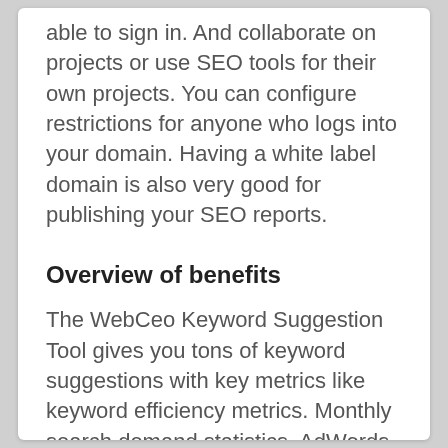able to sign in. And collaborate on projects or use SEO tools for their own projects. You can configure restrictions for anyone who logs into your domain. Having a white label domain is also very good for publishing your SEO reports.
Overview of benefits
The WebCeo Keyword Suggestion Tool gives you tons of keyword suggestions with key metrics like keyword efficiency metrics. Monthly search demand statistics, AdWords bid competition, and search trends for the year. You